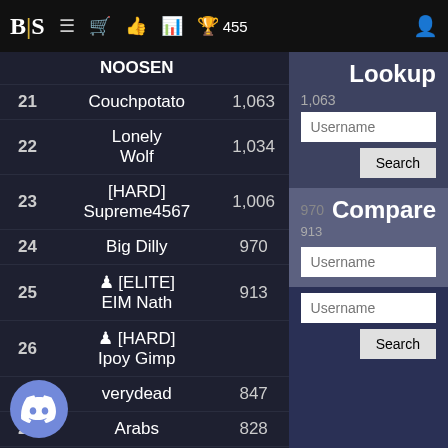BIS  ≡  🛒  👍  📊  🏆 455  👤
| Rank | Username | Score |
| --- | --- | --- |
|  | NOOSEN |  |
| 21 | Couchpotato | 1,063 |
| 22 | Lonely Wolf | 1,034 |
| 23 | [HARD] Supreme4567 | 1,006 |
| 24 | Big Dilly | 970 |
| 25 | 🎭 [ELITE] EIM Nath | 913 |
| 26 | 🎭 [HARD] Ipoy Gimp |  |
| 27 | verydead | 847 |
| 28 | Arabs | 828 |
| 29 | discrat | 826 |
| 30 | [ELITE] Elite Rook | 818 |
|  | [ELITE] |  |
Lookup
Username
Search
Compare
Username
Username
Search